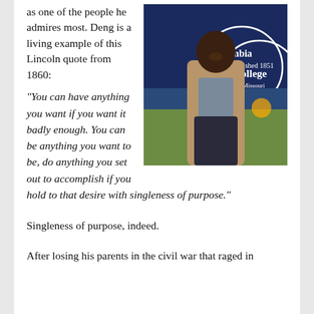as one of the people he admires most. Deng is a living example of this Lincoln quote from 1860:
[Figure (photo): Man standing in front of a Columbia College of Missouri banner, wearing a tan blazer and dark jeans, smiling.]
“You can have anything you want if you want it badly enough. You can be anything you want to be, do anything you set out to accomplish if you hold to that desire with singleness of purpose.”
Singleness of purpose, indeed.
After losing his parents in the civil war that raged in